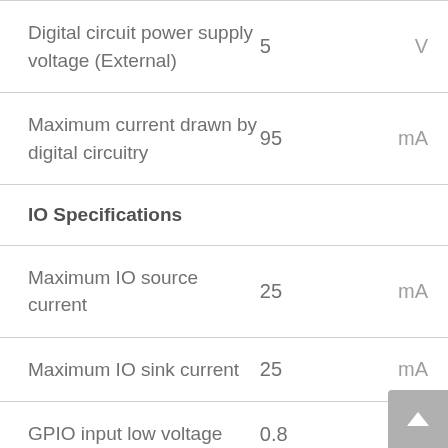| Parameter | Value | Unit |
| --- | --- | --- |
| Digital circuit power supply voltage (External) | 5 | V |
| Maximum current drawn by digital circuitry | 95 | mA |
| IO Specifications |  |  |
| Maximum IO source current | 25 | mA |
| Maximum IO sink current | 25 | mA |
| GPIO input low voltage | 0.8 | V |
| GPIO input high voltage | 2 | V |
| GPIO output low voltage | 0 | V |